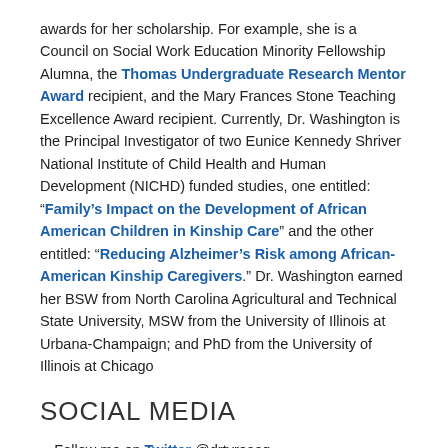awards for her scholarship. For example, she is a Council on Social Work Education Minority Fellowship Alumna, the Thomas Undergraduate Research Mentor Award recipient, and the Mary Frances Stone Teaching Excellence Award recipient. Currently, Dr. Washington is the Principal Investigator of two Eunice Kennedy Shriver National Institute of Child Health and Human Development (NICHD) funded studies, one entitled: “Family’s Impact on the Development of African American Children in Kinship Care” and the other entitled: “Reducing Alzheimer’s Risk among African-American Kinship Caregivers.” Dr. Washington earned her BSW from North Carolina Agricultural and Technical State University, MSW from the University of Illinois at Urbana-Champaign; and PhD from the University of Illinois at Chicago
SOCIAL MEDIA
Follow me on Twitter @drtyreasq